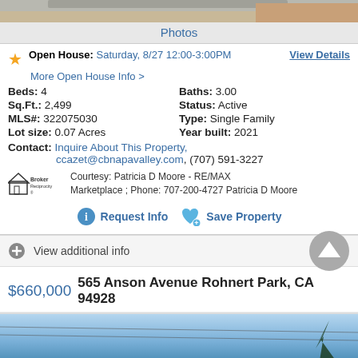[Figure (photo): Top strip of property photo — rooftop/ground area visible]
Photos
Open House: Saturday, 8/27 12:00-3:00PM  View Details
More Open House Info >
Beds: 4
Baths: 3.00
Sq.Ft.: 2,499
Status: Active
MLS#: 322075030
Type: Single Family
Lot size: 0.07 Acres
Year built: 2021
Contact: Inquire About This Property, ccazet@cbnapavalley.com, (707) 591-3227
Courtesy: Patricia D Moore - RE/MAX Marketplace ; Phone: 707-200-4727 Patricia D Moore
Request Info   Save Property
View additional info
$660,000  565 Anson Avenue Rohnert Park, CA 94928
[Figure (photo): Bottom property exterior photo — blue sky with power lines and tree]